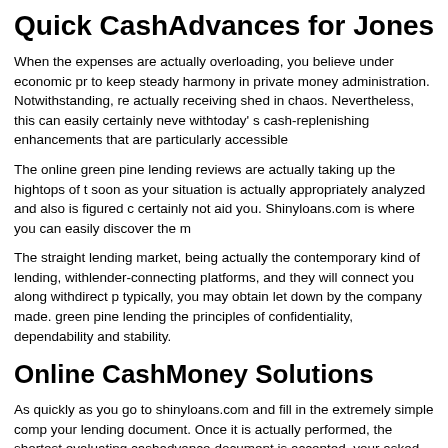Quick CashAdvances for Jonesb…
When the expenses are actually overloading, you believe under economic pr… to keep steady harmony in private money administration. Notwithstanding, re… actually receiving shed in chaos. Nevertheless, this can easily certainly neve… withtoday' s cash-replenishing enhancements that are particularly accessible…
The online green pine lending reviews are actually taking up the hightops of t… soon as your situation is actually appropriately analyzed and also is figured c… certainly not aid you. Shinyloans.com is where you can easily discover the m…
The straight lending market, being actually the contemporary kind of lending,… withlender-connecting platforms, and they will connect you along withdirect p… typically, you may obtain let down by the company made. green pine lending… the principles of confidentiality, dependability and stability.
Online CashMoney Solutions
As quickly as you go to shinyloans.com and fill in the extremely simple comp… your lending document. Once it is actually performed, the shortest evaluating… cashadvance document is accepted, your asked for funds will certainly be tra…
The credit limit is actually right now bigger, thus, you may right now use and … to have to calculate what volume you require, and also breakthroughto get it… document can still be thought about for a quick confirmation even if you are a…
Your credit scores are actually matter however not that much. The no traditio…